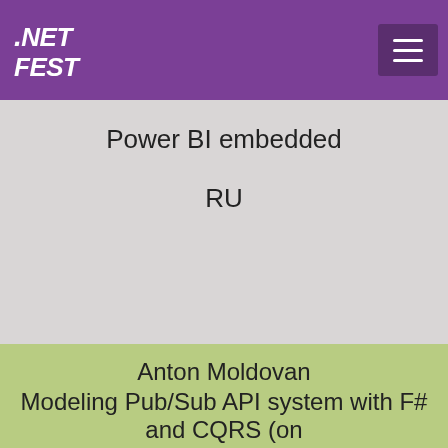.NET FEST
Power BI embedded
RU
Anton Moldovan
Modeling Pub/Sub API system with F# and CQRS (on